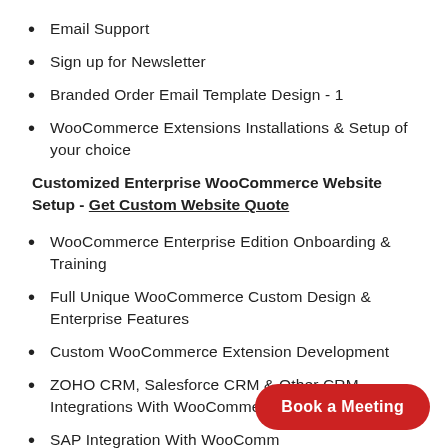Email Support
Sign up for Newsletter
Branded Order Email Template Design - 1
WooCommerce Extensions Installations & Setup of your choice
Customized Enterprise WooCommerce Website Setup - Get Custom Website Quote
WooCommerce Enterprise Edition Onboarding & Training
Full Unique WooCommerce Custom Design & Enterprise Features
Custom WooCommerce Extension Development
ZOHO CRM, Salesforce CRM & Other CRM Integrations With WooCommerce
SAP Integration With WooCommerce
Infusionsoft Integration With WooCommerce